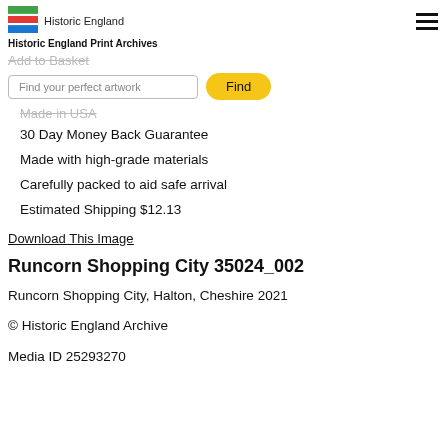Historic England | Historic England Print Archives
Add to Basket
Find your perfect artwork | Find
Made in USA
30 Day Money Back Guarantee
Made with high-grade materials
Carefully packed to aid safe arrival
Estimated Shipping $12.13
Download This Image
Runcorn Shopping City 35024_002
Runcorn Shopping City, Halton, Cheshire 2021
© Historic England Archive
Media ID 25293270